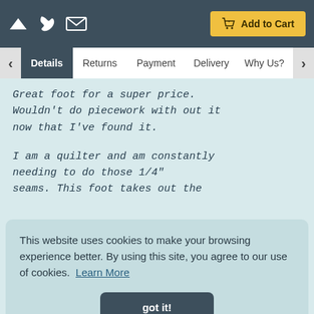Add to Cart
Details | Returns | Payment | Delivery | Why Us?
Great foot for a super price. Wouldn't do piecework with out it now that I've found it.

I am a quilter and am constantly needing to do those 1/4" seams. This foot takes out the
This website uses cookies to make your browsing experience better. By using this site, you agree to our use of cookies. Learn More
got it!